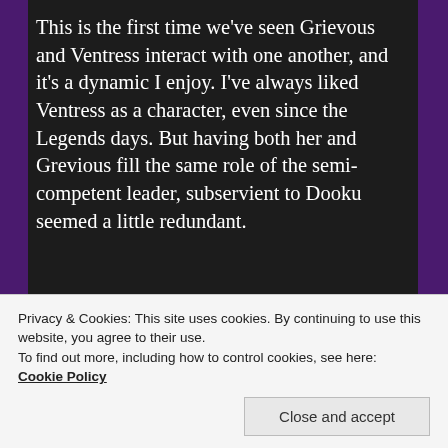This is the first time we've seen Grievous and Ventress interact with one another, and it's a dynamic I enjoy. I've always liked Ventress as a character, even since the Legends days. But having both her and Grevious fill the same role of the semi-competent leader, subservient to Dooku seemed a little redundant.
[Figure (screenshot): Two-panel screenshot from animated Star Wars: The Clone Wars showing clone troopers in white armor standing in a corridor, and another scene on the left.]
Privacy & Cookies: This site uses cookies. By continuing to use this website, you agree to their use.
To find out more, including how to control cookies, see here: Cookie Policy